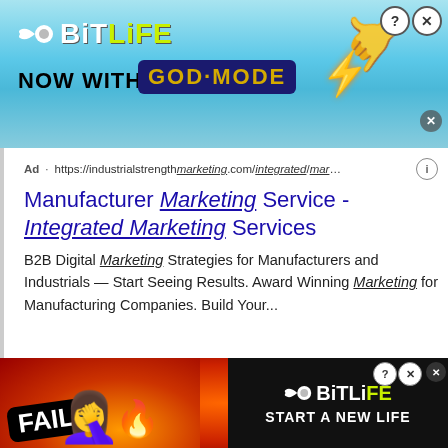[Figure (illustration): BitLife 'Now With God Mode' banner advertisement — light blue background with BitLife logo, yellow/green text, sperm mascot, hand pointing emoji, 'GOD MODE' dark blue badge, lightning bolt, close button]
Ad · https://industrialstrengthmarketing.com/integrated/mar...
Manufacturer Marketing Service - Integrated Marketing Services
B2B Digital Marketing Strategies for Manufacturers and Industrials — Start Seeing Results. Award Winning Marketing for Manufacturing Companies. Build Your...
This site uses cookies and other similar technologies to provide site functionality, analyze traffic and usage, and
[Figure (illustration): BitLife 'Start A New Life' bottom banner advertisement — red/orange fiery background with FAIL badge, cartoon woman facepalming, flame emoji, BitLife sperm logo, black right panel with 'START A NEW LIFE' text]